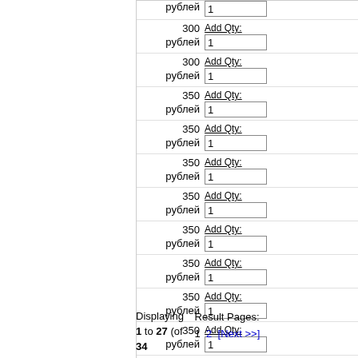| Price | Add Qty |
| --- | --- |
| рублей | 1 |
| 300 рублей | 1 |
| 300 рублей | 1 |
| 350 рублей | 1 |
| 350 рублей | 1 |
| 350 рублей | 1 |
| 350 рублей | 1 |
| 350 рублей | 1 |
| 350 рублей | 1 |
| 350 рублей | 1 |
| 350 рублей | 1 |
| 370 рублей | 1 |
Displaying 1 to 27 (of 34 products)
Result Pages: 1 2 [Next >>]